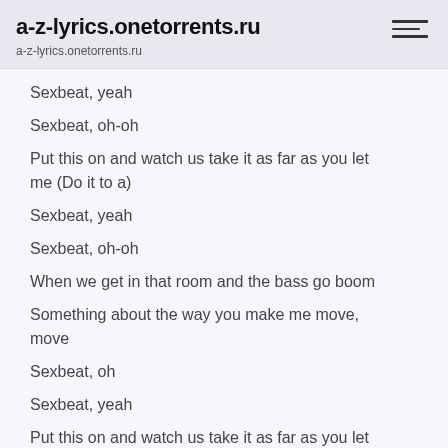a-z-lyrics.onetorrents.ru
a-z-lyrics.onetorrents.ru
Sexbeat, yeah
Sexbeat, oh-oh
Put this on and watch us take it as far as you let me (Do it to a)
Sexbeat, yeah
Sexbeat, oh-oh
When we get in that room and the bass go boom
Something about the way you make me move, move
Sexbeat, oh
Sexbeat, yeah
Put this on and watch us take it as far as you let me, yeah, yeah-yeah